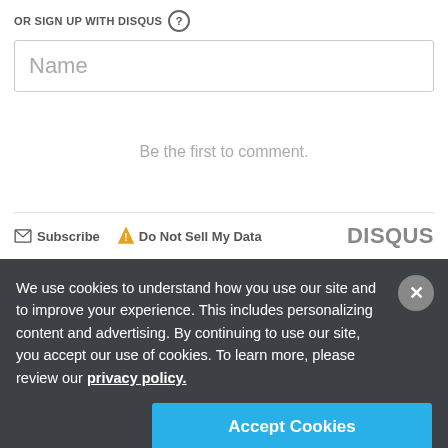OR SIGN UP WITH DISQUS ?
Name
Be the first to comment.
Subscribe   Do Not Sell My Data   DISQUS
We use cookies to understand how you use our site and to improve your experience. This includes personalizing content and advertising. By continuing to use our site, you accept our use of cookies. To learn more, please review our privacy policy.
Accept Cookies